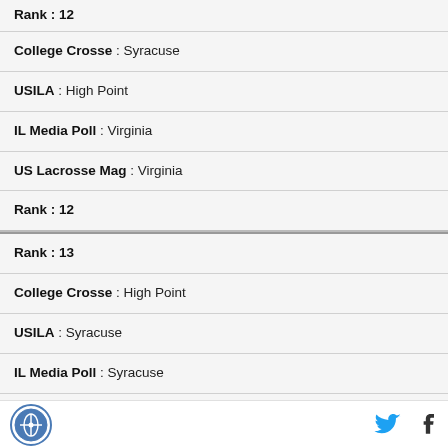| Rank : 12 |
| College Crosse : Syracuse |
| USILA : High Point |
| IL Media Poll : Virginia |
| US Lacrosse Mag : Virginia |
| Rank : 12 |
| Rank : 13 |
| College Crosse : High Point |
| USILA : Syracuse |
| IL Media Poll : Syracuse |
| US Lacrosse Mag : North Carolina |
| Rank : 13 |
Logo | Twitter | Facebook